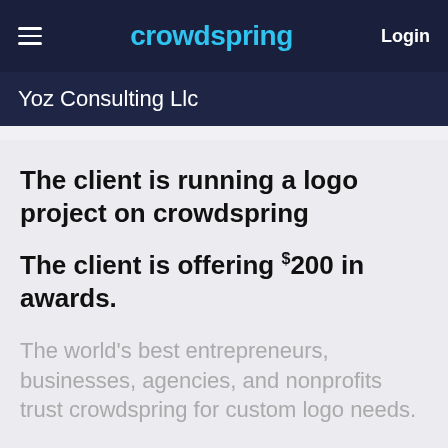crowdspring  Login
Yoz Consulting Llc
The client is running a logo project on crowdspring
The client is offering $200 in awards.
The world's best entrepreneurs, businesses, agencies, and nonprofits trust crowdspring for custom logo needs.
Get your own custom logo